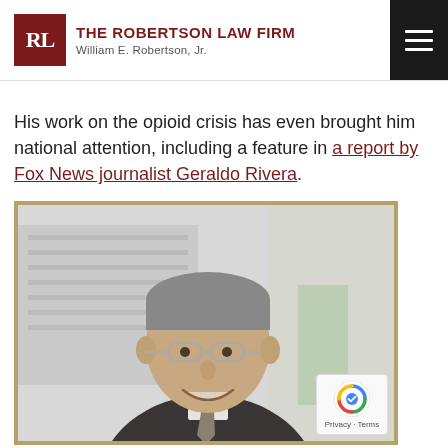THE ROBERTSON LAW FIRM — William E. Robertson, Jr.
His work on the opioid crisis has even brought him national attention, including a feature in a report by Fox News journalist Geraldo Rivera.
[Figure (photo): Professional headshot of William E. Robertson Jr., a middle-aged man in a dark suit with glasses and tie, smiling, with a blurred city building background. Photo has a gold/tan border frame.]